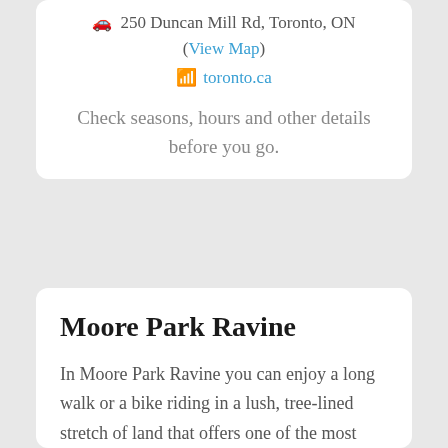🚗 250 Duncan Mill Rd, Toronto, ON (View Map)
☛ toronto.ca
Check seasons, hours and other details before you go.
Moore Park Ravine
In Moore Park Ravine you can enjoy a long walk or a bike riding in a lush, tree-lined stretch of land that offers one of the most beautiful nature environments. The trails at